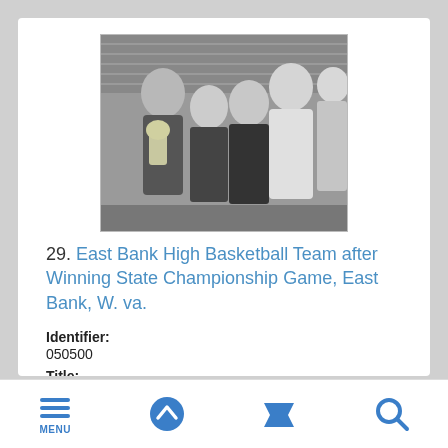[Figure (photo): Black and white photograph of the East Bank High Basketball Team after winning the State Championship Game. Several young men are shown posing together, one holding a trophy, in front of a brick building.]
29. East Bank High Basketball Team after Winning State Championship Game, East Bank, W. va.
Identifier:
050500
Title:
East Bank High Basketball Team after Winning State Championship Game, East Bank, W. va.